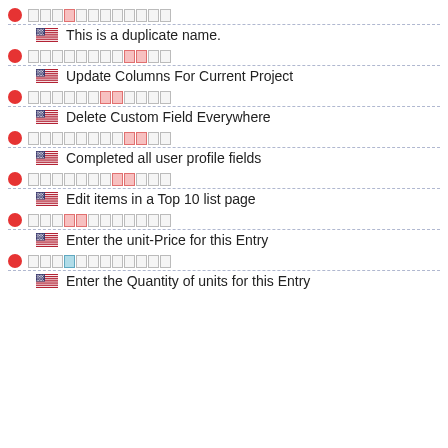Japanese text row 1 + This is a duplicate name.
Japanese text row 2 + Update Columns For Current Project
Japanese text row 3 + Delete Custom Field Everywhere
Japanese text row 4 + Completed all user profile fields
Japanese text row 5 + Edit items in a Top 10 list page
Japanese text row 6 + Enter the unit-Price for this Entry
Japanese text row 7 + Enter the Quantity of units for this Entry